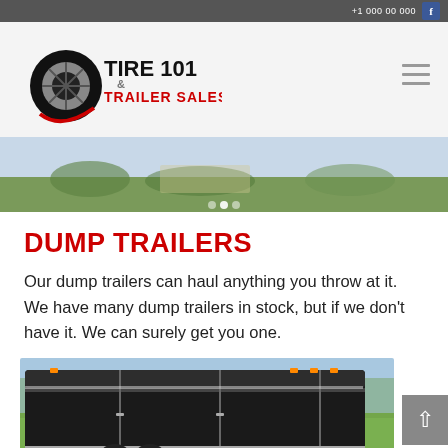Tire 101 & Trailer Sales — website header
[Figure (logo): Tire 101 & Trailer Sales logo with tire graphic and red/black text]
[Figure (photo): Hero banner image showing outdoor scene with green background]
DUMP TRAILERS
Our dump trailers can haul anything you throw at it. We have many dump trailers in stock, but if we don't have it. We can surely get you one.
[Figure (photo): Photo of a large black enclosed trailer/dump trailer parked on grass]